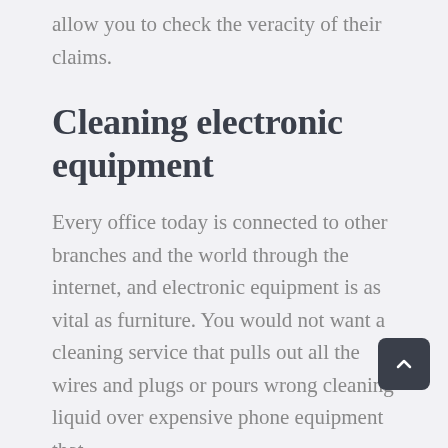allow you to check the veracity of their claims.
Cleaning electronic equipment
Every office today is connected to other branches and the world through the internet, and electronic equipment is as vital as furniture. You would not want a cleaning service that pulls out all the wires and plugs or pours wrong cleaning liquid over expensive phone equipment that